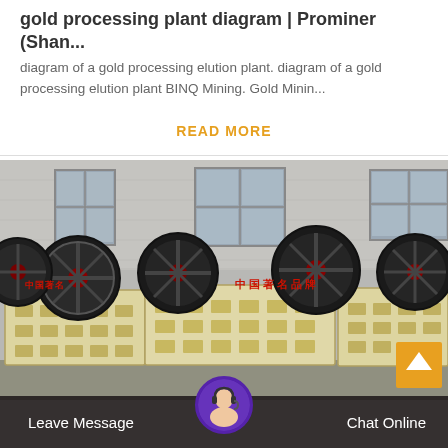gold processing plant diagram | Prominer (Shan...
diagram of a gold processing elution plant. diagram of a gold processing elution plant BINQ Mining. Gold Minin...
READ MORE
[Figure (photo): Industrial jaw crusher machines with large flywheel wheels in beige/cream color parked in a factory yard, with factory building windows visible in background. Chinese characters visible on machine body.]
Leave Message
Chat Online